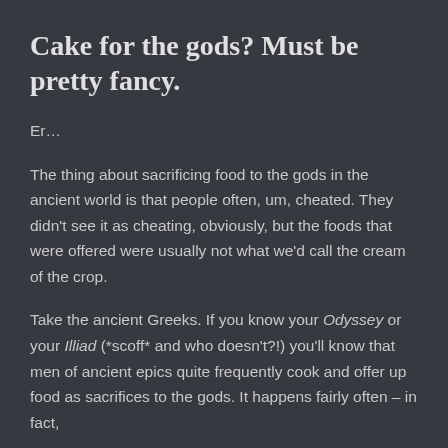Cake for the gods? Must be pretty fancy.
Er…
The thing about sacrificing food to the gods in the ancient world is that people often, um, cheated. They didn't see it as cheating, obviously, but the foods that were offered were usually not what we'd call the cream of the crop.
Take the ancient Greeks. If you know your Odyssey or your Illiad (*scoff* and who doesn't?!) you'll know that men of ancient epics quite frequently cook and offer up food as sacrifices to the gods. It happens fairly often – in fact,